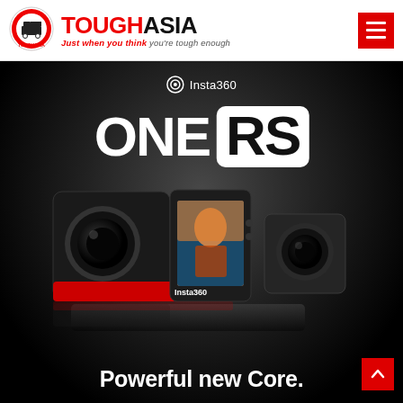[Figure (logo): ToughAsia logo: circular icon with building/truck motif and TOUGHASIA text]
TOUGHASIA - Just when you think you're tough enough
[Figure (illustration): Red hamburger/menu button in top right corner]
[Figure (photo): Insta360 ONE RS action camera product promotional image on dark background showing three camera units. Text: Insta360, ONE RS, Powerful new Core.]